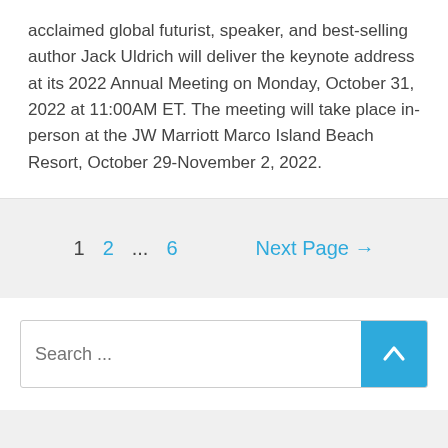acclaimed global futurist, speaker, and best-selling author Jack Uldrich will deliver the keynote address at its 2022 Annual Meeting on Monday, October 31, 2022 at 11:00AM ET. The meeting will take place in-person at the JW Marriott Marco Island Beach Resort, October 29-November 2, 2022.
1  2  ...  6  Next Page →